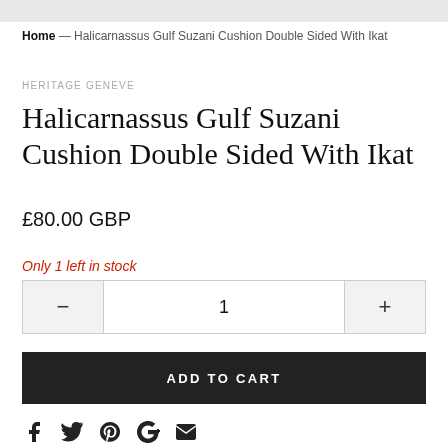[Figure (photo): Top portion of a product image (cropped, showing mostly grey/white background)]
Home — Halicarnassus Gulf Suzani Cushion Double Sided With Ikat
HERITAGE GENEVE
Halicarnassus Gulf Suzani Cushion Double Sided With Ikat
£80.00 GBP
Only 1 left in stock
1
ADD TO CART
[Figure (infographic): Social sharing icons: Facebook, Twitter, Pinterest, Google+, Email]